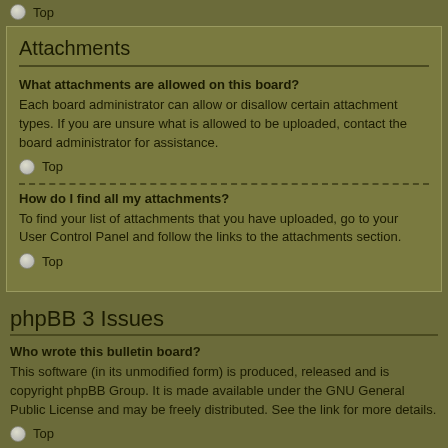Top
Attachments
What attachments are allowed on this board?
Each board administrator can allow or disallow certain attachment types. If you are unsure what is allowed to be uploaded, contact the board administrator for assistance.
Top
How do I find all my attachments?
To find your list of attachments that you have uploaded, go to your User Control Panel and follow the links to the attachments section.
Top
phpBB 3 Issues
Who wrote this bulletin board?
This software (in its unmodified form) is produced, released and is copyright phpBB Group. It is made available under the GNU General Public License and may be freely distributed. See the link for more details.
Top
Why isn't X feature available?
This software was written by and licensed through phpBB Group. If you believe a feature needs to be added then please visit the phpbb.com website and see what phpBB Group have to say. Please do not post feature requests to the board at phpbb.com, the group uses SourceForge to handle tasking of new features.